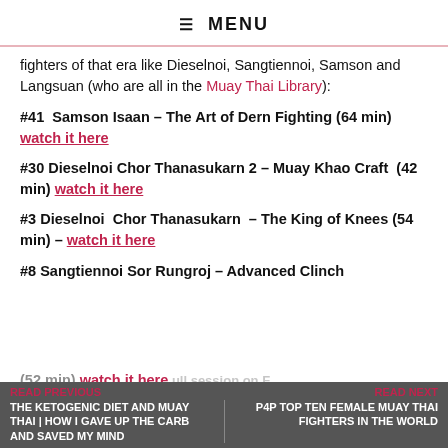☰ MENU
fighters of that era like Dieselnoi, Sangtiennoi, Samson and Langsuan (who are all in the Muay Thai Library):
#41  Samson Isaan – The Art of Dern Fighting (64 min) watch it here
#30 Dieselnoi Chor Thanasukarn 2 – Muay Khao Craft  (42 min) watch it here
#3 Dieselnoi  Chor Thanasukarn  – The King of Knees (54 min) – watch it here
#8 Sangtiennoi Sor Rungroj – Advanced Clinch (52 min) watch it here
READ PREVIOUS | THE KETOGENIC DIET AND MUAY THAI | HOW I GAVE UP THE CARB AND SAVED MY MIND || READ NEXT | P4P TOP TEN FEMALE MUAY THAI FIGHTERS IN THE WORLD